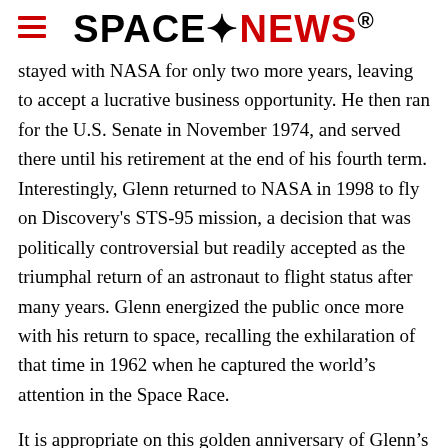SPACENEWS
stayed with NASA for only two more years, leaving to accept a lucrative business opportunity. He then ran for the U.S. Senate in November 1974, and served there until his retirement at the end of his fourth term. Interestingly, Glenn returned to NASA in 1998 to fly on Discovery's STS-95 mission, a decision that was politically controversial but readily accepted as the triumphal return of an astronaut to flight status after many years. Glenn energized the public once more with his return to space, recalling the exhilaration of that time in 1962 when he captured the world's attention in the Space Race.
It is appropriate on this golden anniversary of Glenn's 1962 flight that we reflect on its meaning: It was the